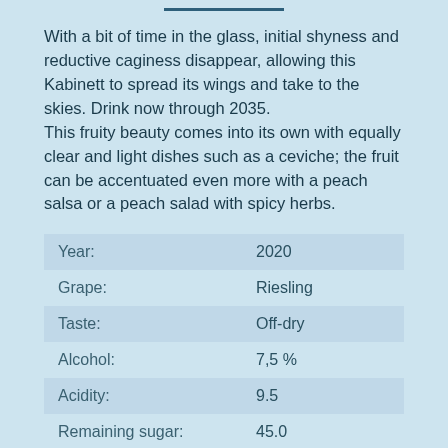DESCRIPTION
With a bit of time in the glass, initial shyness and reductive caginess disappear, allowing this Kabinett to spread its wings and take to the skies. Drink now through 2035.
This fruity beauty comes into its own with equally clear and light dishes such as a ceviche; the fruit can be accentuated even more with a peach salsa or a peach salad with spicy herbs.
| Label | Value |
| --- | --- |
| Year: | 2020 |
| Grape: | Riesling |
| Taste: | Off-dry |
| Alcohol: | 7,5 % |
| Acidity: | 9.5 |
| Remaining sugar: | 45.0 |